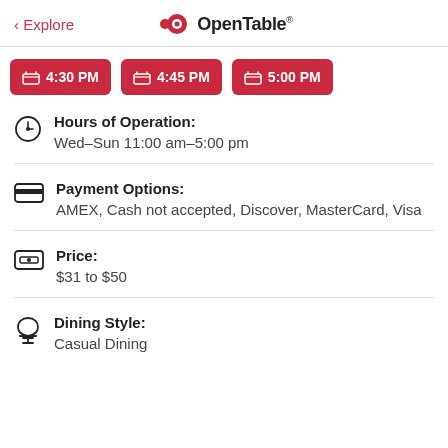< Explore  OpenTable
4:30 PM
4:45 PM
5:00 PM
Hours of Operation: Wed–Sun 11:00 am–5:00 pm
Payment Options: AMEX, Cash not accepted, Discover, MasterCard, Visa
Price: $31 to $50
Dining Style: Casual Dining